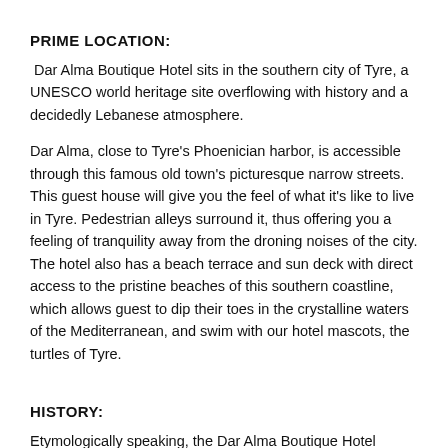PRIME LOCATION:
Dar Alma Boutique Hotel sits in the southern city of Tyre, a UNESCO world heritage site overflowing with history and a decidedly Lebanese atmosphere.
Dar Alma, close to Tyre's Phoenician harbor, is accessible through this famous old town's picturesque narrow streets. This guest house will give you the feel of what it's like to live in Tyre. Pedestrian alleys surround it, thus offering you a feeling of tranquility away from the droning noises of the city. The hotel also has a beach terrace and sun deck with direct access to the pristine beaches of this southern coastline, which allows guest to dip their toes in the crystalline waters of the Mediterranean, and swim with our hotel mascots, the turtles of Tyre.
HISTORY:
Etymologically speaking, the Dar Alma Boutique Hotel carries a well-fitting name. Dar, a word that refers to a house, is embodied by the warm, homey feeling that envelops the guests staying at this establishment. Alma, which means soul, hints at the positive spirit permeating the entire hotel, which